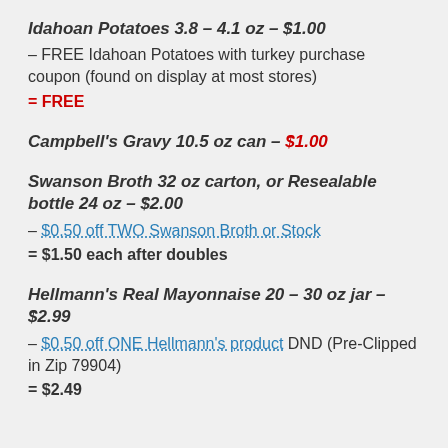Idahoan Potatoes 3.8 – 4.1 oz – $1.00 – FREE Idahoan Potatoes with turkey purchase coupon (found on display at most stores) = FREE
Campbell's Gravy 10.5 oz can – $1.00
Swanson Broth 32 oz carton, or Resealable bottle 24 oz – $2.00 – $0.50 off TWO Swanson Broth or Stock = $1.50 each after doubles
Hellmann's Real Mayonnaise 20 – 30 oz jar – $2.99 – $0.50 off ONE Hellmann's product DND (Pre-Clipped in Zip 79904) = $2.49